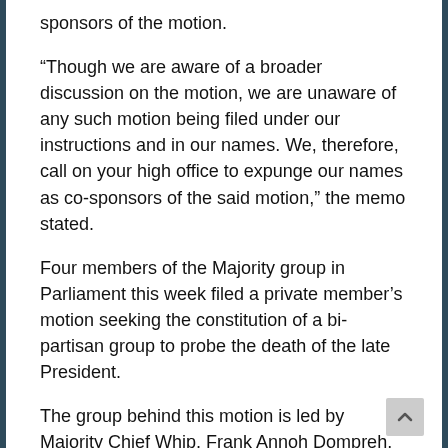sponsors of the motion.
“Though we are aware of a broader discussion on the motion, we are unaware of any such motion being filed under our instructions and in our names. We, therefore, call on your high office to expunge our names as co-sponsors of the said motion,” the memo stated.
Four members of the Majority group in Parliament this week filed a private member’s motion seeking the constitution of a bi-partisan group to probe the death of the late President.
The group behind this motion is led by Majority Chief Whip, Frank Annoh Dompreh.
Talon MP Habib Iddrisu, Maroase MP Davis